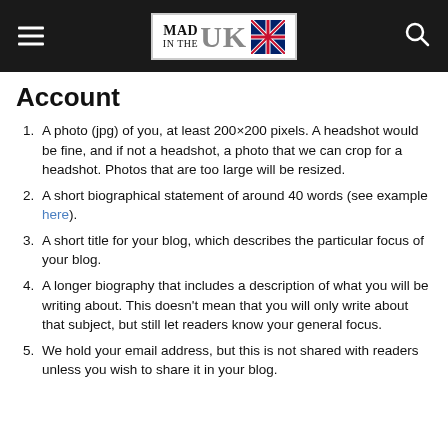MAD IN THE UK [logo with flag]
Account
A photo (jpg) of you, at least 200×200 pixels. A headshot would be fine, and if not a headshot, a photo that we can crop for a headshot. Photos that are too large will be resized.
A short biographical statement of around 40 words (see example here).
A short title for your blog, which describes the particular focus of your blog.
A longer biography that includes a description of what you will be writing about. This doesn't mean that you will only write about that subject, but still let readers know your general focus.
We hold your email address, but this is not shared with readers unless you wish to share it in your blog.